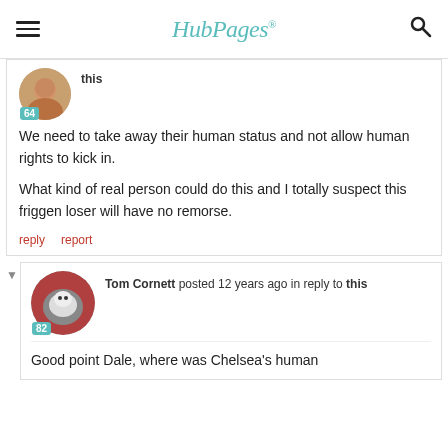HubPages
[Figure (photo): User avatar showing a man's face, partially cropped, with badge '64']
this
We need to take away their human status and not allow human rights to kick in.

What kind of real person could do this and I totally suspect this friggen loser will have no remorse.
reply   report
[Figure (photo): User avatar showing a white cat with person, badge '82']
Tom Cornett posted 12 years ago in reply to this
Good point Dale, where was Chelsea's human